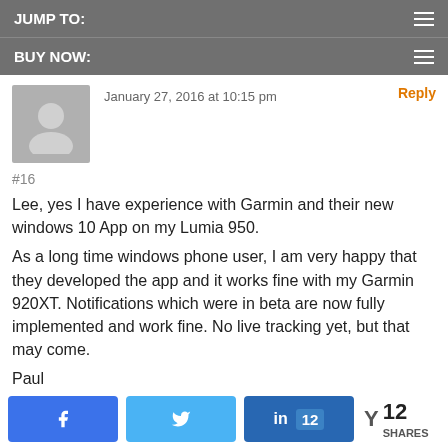JUMP TO:
BUY NOW:
#16
January 27, 2016 at 10:15 pm
Lee, yes I have experience with Garmin and their new windows 10 App on my Lumia 950.
As a long time windows phone user, I am very happy that they developed the app and it works fine with my Garmin 920XT. Notifications which were in beta are now fully implemented and work fine. No live tracking yet, but that may come.
Paul
Lee
January 28, 2016 at 12:15 pm